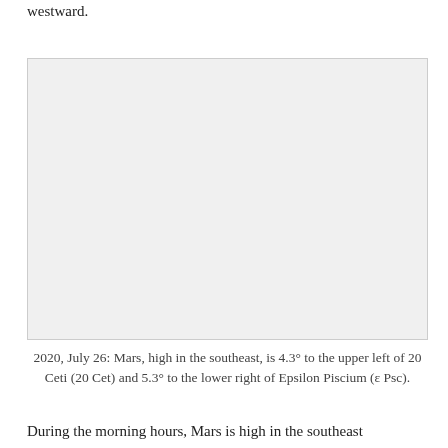westward.
[Figure (photo): Astronomical photograph showing Mars high in the southeast, with reference stars 20 Ceti (20 Cet) and Epsilon Piscium (ε Psc) visible nearby. Light gray placeholder image.]
2020, July 26: Mars, high in the southeast, is 4.3° to the upper left of 20 Ceti (20 Cet) and 5.3° to the lower right of Epsilon Piscium (ε Psc).
During the morning hours, Mars is high in the southeast